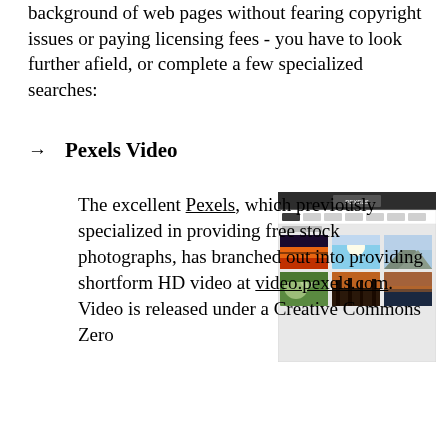background of web pages without fearing copyright issues or paying licensing fees - you have to look further afield, or complete a few specialized searches:
→    Pexels Video
[Figure (screenshot): Screenshot of the Pexels website showing a grid of stock video thumbnail images including sunsets, sky, and nature scenes.]
The excellent Pexels, which previously specialized in providing free stock photographs, has branched out into providing shortform HD video at video.pexels.com. Video is released under a Creative Commons Zero